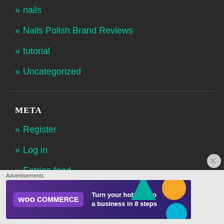» nails
» Nails Polish Brand Reviews
» tutorial
» Uncategorized
META
» Register
» Log in
» Entries feed
» Comments feed
[Figure (infographic): WooCommerce advertisement banner: 'Turn your hobby into a business in 8 steps' with colorful geometric decorations on dark purple background]